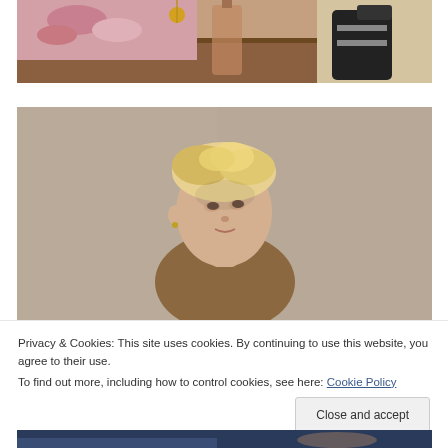[Figure (photo): Top portion of a fashion/editorial photo showing clothing items including a pink floral garment, a bottle, and black boots on a light background]
[Figure (photo): Editorial portrait photo of a young person with short blonde tousled hair looking upward, against a taupe/beige background, wearing a light brown top]
Privacy & Cookies: This site uses cookies. By continuing to use this website, you agree to their use.
To find out more, including how to control cookies, see here: Cookie Policy
Close and accept
[Figure (photo): Bottom portion of another editorial photo showing what appears to be a person in dark blue/denim clothing with accessories, partially visible]